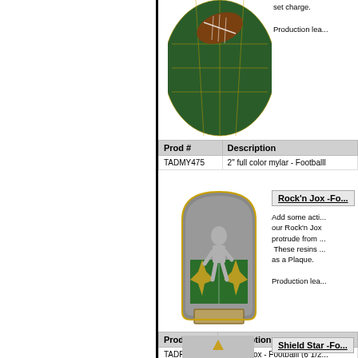[Figure (photo): Football mylar product photo - green globe with football on top, gold grid lines]
set charge.

Production lea...
| Prod # | Description |
| --- | --- |
| TADMY475 | 2" full color mylar - Footballl |
[Figure (photo): Rock'n Jox Football resin plaque - silver football player figure protruding from green and gold arched plaque with blank nameplate]
Rock'n Jox -Fo...
Add some acti... our Rock'n Jox protrude from ... These resins ... as a Plaque.

Production lea...
| Prod # | Description |
| --- | --- |
| TADRJ659 | Rock'n Jox - Footballl (6 1/2... |
[Figure (photo): Shield Star football product - partially visible at bottom]
Shield Star -Fo...